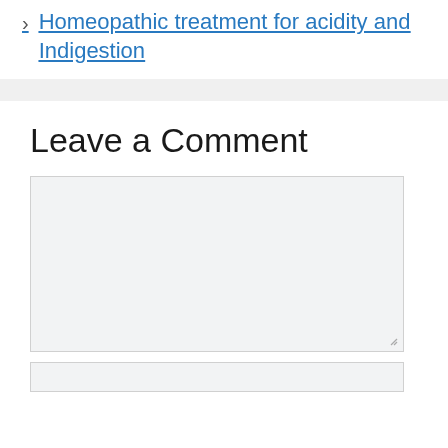› Homeopathic treatment for acidity and Indigestion
Leave a Comment